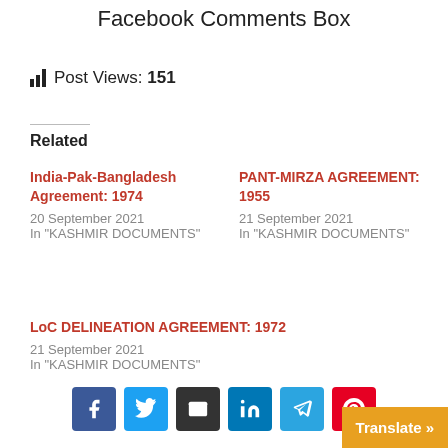Facebook Comments Box
Post Views: 151
Related
India-Pak-Bangladesh Agreement: 1974
20 September 2021
In "KASHMIR DOCUMENTS"
PANT-MIRZA AGREEMENT: 1955
21 September 2021
In "KASHMIR DOCUMENTS"
LoC DELINEATION AGREEMENT: 1972
21 September 2021
In "KASHMIR DOCUMENTS"